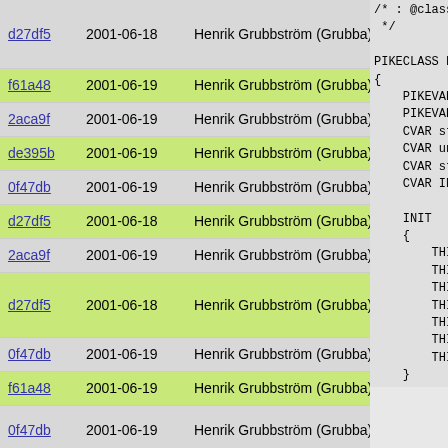| Hash | Date | Author | Code |
| --- | --- | --- | --- |
| d27df5 | 2001-06-18 | Henrik Grubbström (Grubba) | /* : @class
 */

PIKECLASS ba
{ |
| f61a48 | 2001-06-19 | Henrik Grubbström (Grubba) | PIKEVAR mi |
| 2aca9f | 2001-06-19 | Henrik Grubbström (Grubba) | PIKEVAR ar |
| de395b | 2001-06-19 | Henrik Grubbström (Grubba) | CVAR stru |
| 0f47db | 2001-06-19 | Henrik Grubbström (Grubba) | CVAR unsig |
| d27df5 | 2001-06-18 | Henrik Grubbström (Grubba) | CVAR stru |
| 2aca9f | 2001-06-19 | Henrik Grubbström (Grubba) | CVAR INT_T |
| d27df5 | 2001-06-18 | Henrik Grubbström (Grubba) | INIT
{ |
| 0f47db | 2001-06-19 | Henrik Grubbström (Grubba) | THIS->fu |
| f61a48 | 2001-06-19 | Henrik Grubbström (Grubba) | THIS->fu |
| 0f47db | 2001-06-19 | Henrik Grubbström (Grubba) | THIS->p
THIS->po |
| d27df5 | 2001-06-18 | Henrik Grubbström (Grubba) | THIS->li |
| 0f47db | 2001-06-19 | Henrik Grubbström (Grubba) | THIS->ar
THIS->f: |
| d27df5 | 2001-06-18 | Henrik Grubbström (Grubba) | } |